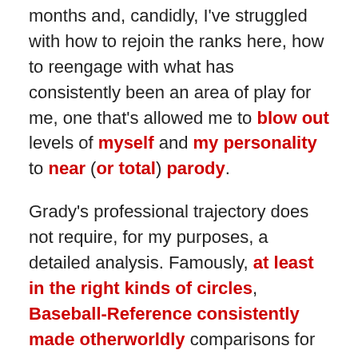months and, candidly, I've struggled with how to rejoin the ranks here, how to reengage with what has consistently been an area of play for me, one that's allowed me to blow out levels of myself and my personality to near (or total) parody.
Grady's professional trajectory does not require, for my purposes, a detailed analysis. Famously, at least in the right kinds of circles, Baseball-Reference consistently made otherworldly comparisons for Sizemore early in his career. At age 22 and 23, his most similar batter was Duke Snider; at 25 and 26, it was Barry Bonds. These comparisons were used as blunt instruments to highlight just how terrific Sizemore was as a young player and to define just how volcanic his potential remained. Now, in the spirit of turnabout as fair play, it's just as simple to point towards the